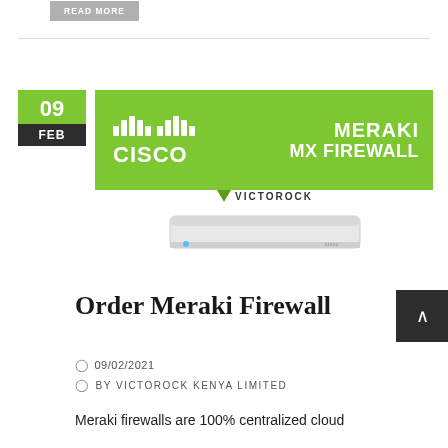[Figure (screenshot): READ MORE button (gray background, white text)]
[Figure (illustration): Cisco Meraki MX Firewall banner with green background showing Cisco logo and text 'MERAKI MX FIREWALL', Victorock logo, and a Meraki MX device hardware photo]
Order Meraki Firewall
09/02/2021
BY VICTOROCK KENYA LIMITED
Meraki firewalls are 100% centralized cloud